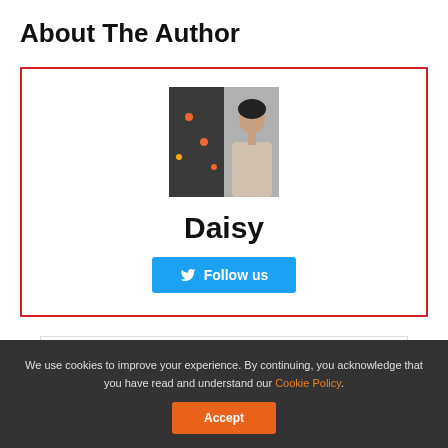About The Author
[Figure (photo): Author profile section with photo of Daisy, name text, and Follow us Twitter button inside a red-bordered box]
[Figure (infographic): Advertisement banner: Fill Up. Save Up. Snack Up. Shell with Shell logo and navigation icon]
We use cookies to improve your experience. By continuing, you acknowledge that you have read and understand our Cookie Policy.
Accept